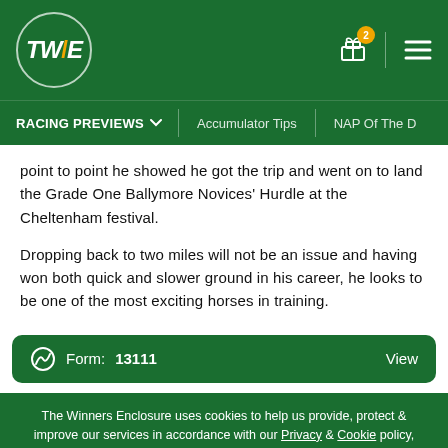TWE - The Winners Enclosure
point to point he showed he got the trip and went on to land the Grade One Ballymore Novices' Hurdle at the Cheltenham festival.
Dropping back to two miles will not be an issue and having won both quick and slower ground in his career, he looks to be one of the most exciting horses in training.
Form: 13111   View
The Winners Enclosure uses cookies to help us provide, protect & improve our services in accordance with our Privacy & Cookie policy, which includes details of how you can change your cookie settings.
Accept & Close